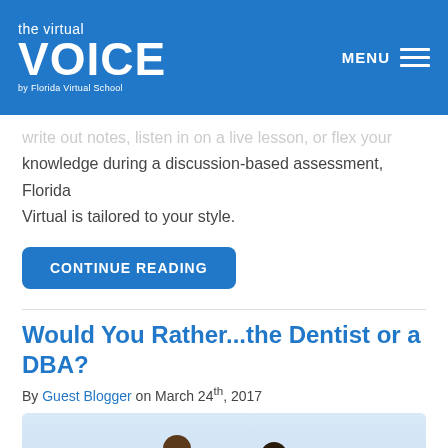the virtual VOICE by Florida Virtual School
write out notes, listen in on a live lesson, or flex your knowledge during a discussion-based assessment, Florida Virtual is tailored to your style.
CONTINUE READING
Would You Rather...the Dentist or a DBA?
By Guest Blogger on March 24th, 2017
[Figure (photo): Two children holding up colored circles (orange and pink) in front of their faces]